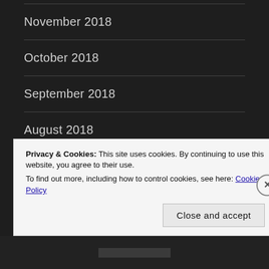November 2018
October 2018
September 2018
August 2018
July 2018
Privacy & Cookies: This site uses cookies. By continuing to use this website, you agree to their use.
To find out more, including how to control cookies, see here: Cookie Policy